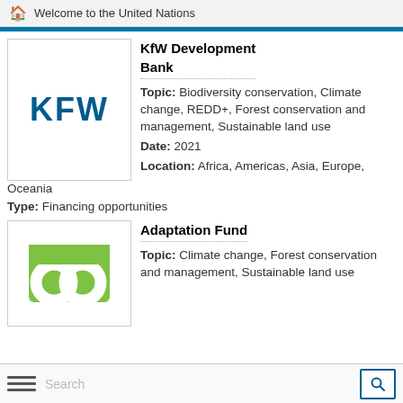Welcome to the United Nations
KfW Development Bank
Topic: Biodiversity conservation, Climate change, REDD+, Forest conservation and management, Sustainable land use
Date: 2021
Location: Africa, Americas, Asia, Europe, Oceania
Type: Financing opportunities
Adaptation Fund
Topic: Climate change, Forest conservation and management, Sustainable land use